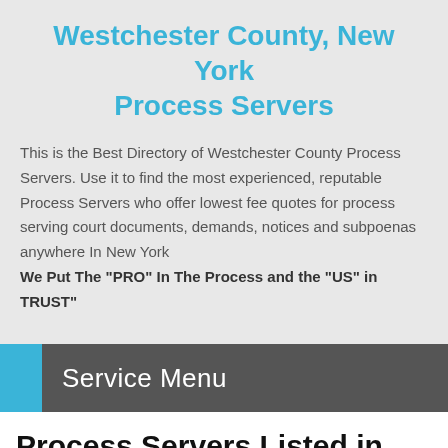Westchester County, New York Process Servers
This is the Best Directory of Westchester County Process Servers. Use it to find the most experienced, reputable Process Servers who offer lowest fee quotes for process serving court documents, demands, notices and subpoenas anywhere In New York We Put The "PRO" In The Process and the "US" in TRUST"
Service Menu
Process Servers Listed in Katonah, NY